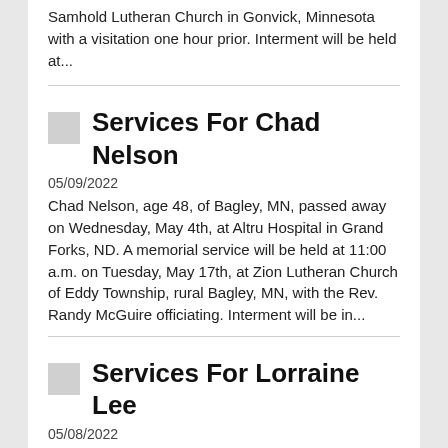Samhold Lutheran Church in Gonvick, Minnesota with a visitation one hour prior. Interment will be held at...
Services For Chad Nelson
05/09/2022
Chad Nelson, age 48, of Bagley, MN, passed away on Wednesday, May 4th, at Altru Hospital in Grand Forks, ND. A memorial service will be held at 11:00 a.m. on Tuesday, May 17th, at Zion Lutheran Church of Eddy Township, rural Bagley, MN, with the Rev. Randy McGuire officiating. Interment will be in...
Services For Lorraine Lee
05/08/2022
Lorraine Lee, age 96, of McIntosh, MN,